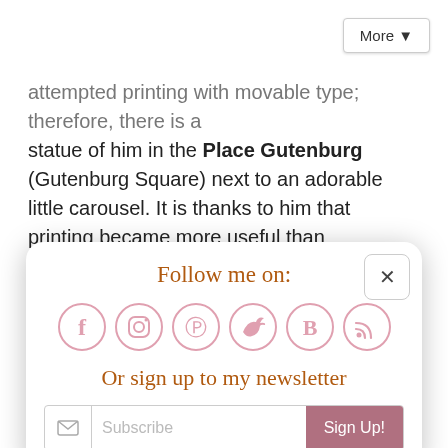attempted printing with movable type; therefore, there is a statue of him in the Place Gutenburg (Gutenburg Square) next to an adorable little carousel. It is thanks to him that printing became more useful than handwriting everything out! The façade of the statue depicts images of the printing press process as well as the signing of the Declaration of Independence.
[Figure (infographic): Social media follow popup with title 'Follow me on:', icons for Facebook, Instagram, Pinterest, Twitter, Bloglovin, and RSS feed, a newsletter sign-up prompt 'Or sign up to my newsletter', and a Subscribe input field with Sign Up! button.]